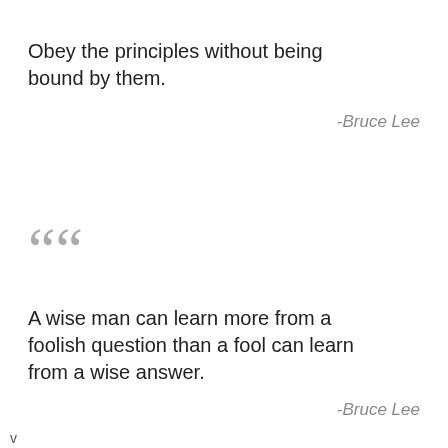Obey the principles without being bound by them.
-Bruce Lee
““
A wise man can learn more from a foolish question than a fool can learn from a wise answer.
-Bruce Lee
v